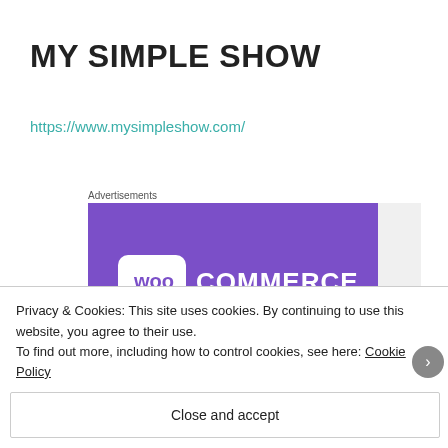MY SIMPLE SHOW
https://www.mysimpleshow.com/
Advertisements
[Figure (illustration): WooCommerce advertisement banner with purple background, teal triangle shape on left, blue shape on right, WooCommerce logo in white text]
Privacy & Cookies: This site uses cookies. By continuing to use this website, you agree to their use.
To find out more, including how to control cookies, see here: Cookie Policy
Close and accept